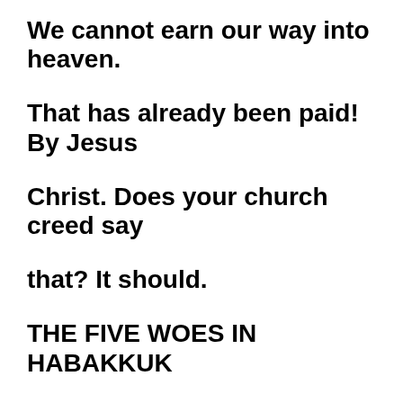We cannot earn our way into heaven.
That has already been paid! By Jesus Christ. Does your church creed say that? It should.
THE FIVE WOES IN HABAKKUK chapter 2
Verse 6: …woe to him who piles up